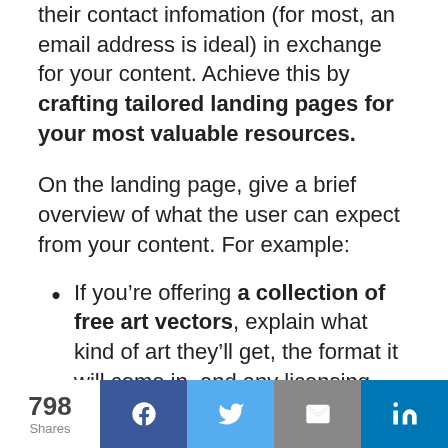their contact infomation (for most, an email address is ideal) in exchange for your content. Achieve this by crafting tailored landing pages for your most valuable resources.
On the landing page, give a brief overview of what the user can expect from your content. For example:
If you're offering a collection of free art vectors, explain what kind of art they'll get, the format it will come in, and any licensing info.
798 Shares | Facebook | Twitter | Email | LinkedIn